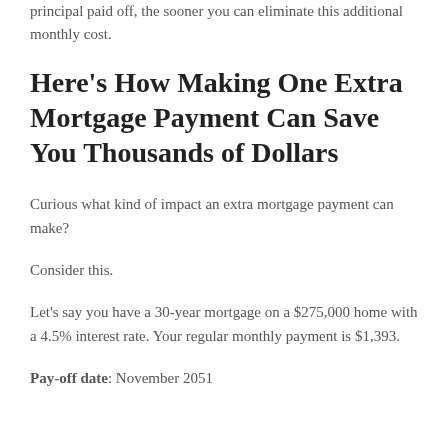principal paid off, the sooner you can eliminate this additional monthly cost.
Here’s How Making One Extra Mortgage Payment Can Save You Thousands of Dollars
Curious what kind of impact an extra mortgage payment can make?
Consider this.
Let’s say you have a 30-year mortgage on a $275,000 home with a 4.5% interest rate. Your regular monthly payment is $1,393.
Pay-off date: November 2051